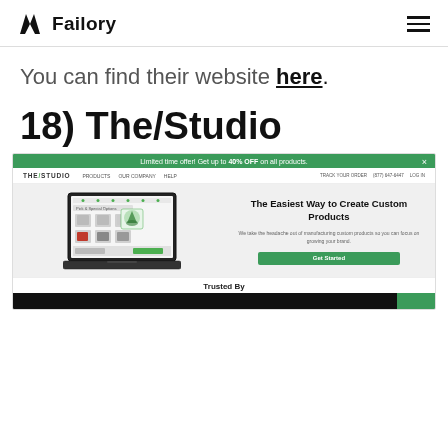Failory
You can find their website here.
18) The/Studio
[Figure (screenshot): Screenshot of The/Studio website showing a green promo bar 'Limited time offer! Get up to 40% OFF on all products.', navigation bar with THE/STUDIO logo, PRODUCTS, OUR COMPANY, HELP, TRACK YOUR ORDER, (877) 647-6447, LOG IN, and hero section with laptop image showing custom products configurator on the left, and headline 'The Easiest Way to Create Custom Products' with subtext 'We take the headache out of manufacturing custom products so you can focus on growing your brand.' and green 'Get Started' button on the right. Below is a 'Trusted By' section.]